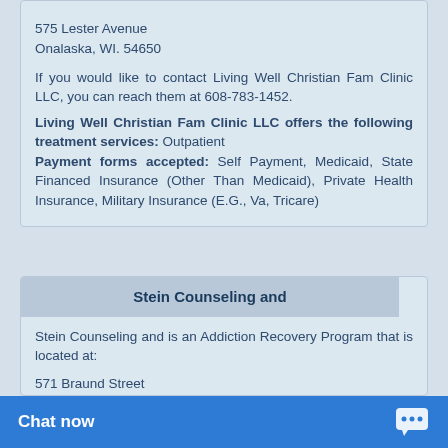575 Lester Avenue
Onalaska, WI. 54650
If you would like to contact Living Well Christian Fam Clinic LLC, you can reach them at 608-783-1452.
Living Well Christian Fam Clinic LLC offers the following treatment services: Outpatient
Payment forms accepted: Self Payment, Medicaid, State Financed Insurance (Other Than Medicaid), Private Health Insurance, Military Insurance (E.G., Va, Tricare)
Stein Counseling and
Stein Counseling and is an Addiction Recovery Program that is located at:
571 Braund Street
Onalaska, WI. 54650
If you would like to contact Stein Counseling and, you can reach them at 608-785-7000 x280.
Stein Counseling and offers the following treatment services: Outpatient, Cr...
Payment forms acce...